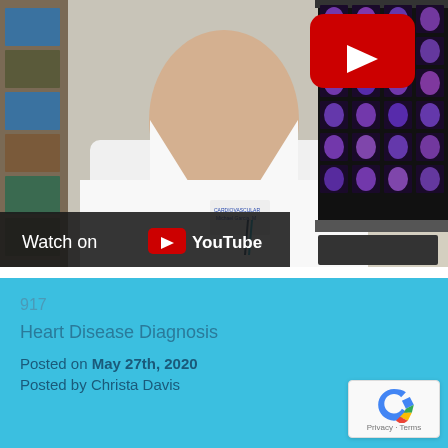[Figure (screenshot): YouTube video thumbnail showing a doctor in a white lab coat sitting at a desk with medical scan images on a monitor behind him and bookshelves on the left. A red YouTube play button is visible in the upper right. A 'Watch on YouTube' bar appears at the bottom of the image.]
917
Heart Disease Diagnosis
Posted on May 27th, 2020
Posted by Christa Davis